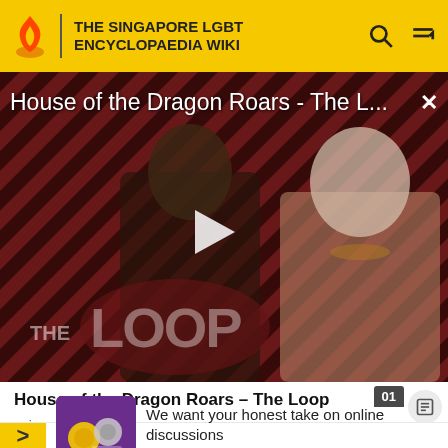THE SINGAPORE LGBT ENCYCLOPAEDIA WIKI
[Figure (screenshot): Video thumbnail for House of the Dragon Roars - The L... showing two characters against a diagonal striped red/dark background with THE LOOP overlay text and a play button]
House of the Dragon Roars - The Loop
coin
We want your honest take on online discussions
SURVEY: ONLINE FORUMS